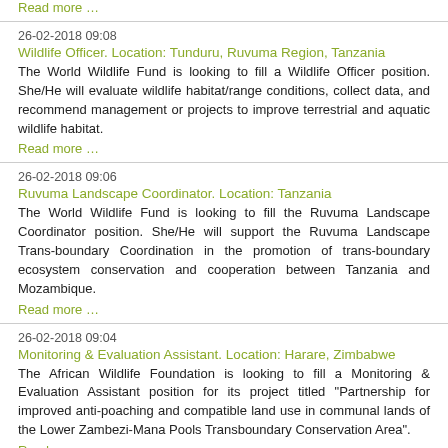Read more …
26-02-2018 09:08
Wildlife Officer. Location: Tunduru, Ruvuma Region, Tanzania
The World Wildlife Fund is looking to fill a Wildlife Officer position. She/He will evaluate wildlife habitat/range conditions, collect data, and recommend management or projects to improve terrestrial and aquatic wildlife habitat.
Read more …
26-02-2018 09:06
Ruvuma Landscape Coordinator. Location: Tanzania
The World Wildlife Fund is looking to fill the Ruvuma Landscape Coordinator position. She/He will support the Ruvuma Landscape Trans-boundary Coordination in the promotion of trans-boundary ecosystem conservation and cooperation between Tanzania and Mozambique.
Read more …
26-02-2018 09:04
Monitoring & Evaluation Assistant. Location: Harare, Zimbabwe
The African Wildlife Foundation is looking to fill a Monitoring & Evaluation Assistant position for its project titled "Partnership for improved anti-poaching and compatible land use in communal lands of the Lower Zambezi-Mana Pools Transboundary Conservation Area".
Read more …
21-02-2018 18:09
Conservation and Livelihoods Officer
Pathfinder International is looking to fill a Conservation and Livelihoods Officer position for the Health of the People and Environment - Lake Victoria Basin (HoPE-LVB) project. She/He will provide support supervision to Community Based Organizations and community groups in collaboration with other HoPE-